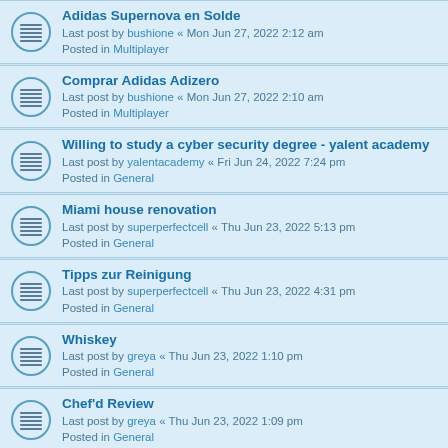Adidas Supernova en Solde
Last post by bushione « Mon Jun 27, 2022 2:12 am
Posted in Multiplayer
Comprar Adidas Adizero
Last post by bushione « Mon Jun 27, 2022 2:10 am
Posted in Multiplayer
Willing to study a cyber security degree - yalent academy
Last post by yalentacademy « Fri Jun 24, 2022 7:24 pm
Posted in General
Miami house renovation
Last post by superperfectcell « Thu Jun 23, 2022 5:13 pm
Posted in General
Tipps zur Reinigung
Last post by superperfectcell « Thu Jun 23, 2022 4:31 pm
Posted in General
Whiskey
Last post by greya « Thu Jun 23, 2022 1:10 pm
Posted in General
Chef'd Review
Last post by greya « Thu Jun 23, 2022 1:09 pm
Posted in General
Orbitaltoday
Last post by William E. Babin « Wed Jun 22, 2022 8:43 pm
Posted in General
Trusted car navigation system company- android navigation
Last post by ...